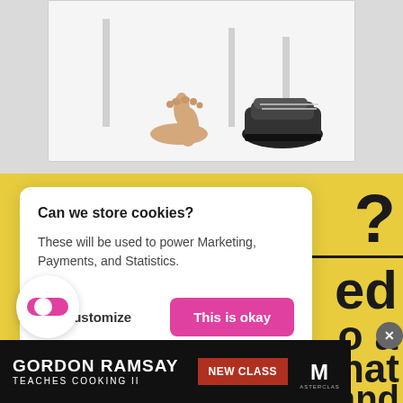[Figure (photo): Partial view of a person's bare feet and another person's sneaker-clad foot under a white table, bottom portion of the image]
Can we store cookies?
These will be used to power Marketing, Payments, and Statistics.
No, Customize
This is okay
hurt you the least and
[Figure (screenshot): MasterClass advertisement banner: GORDON RAMSAY TEACHES COOKING II, NEW CLASS, MasterClass logo]